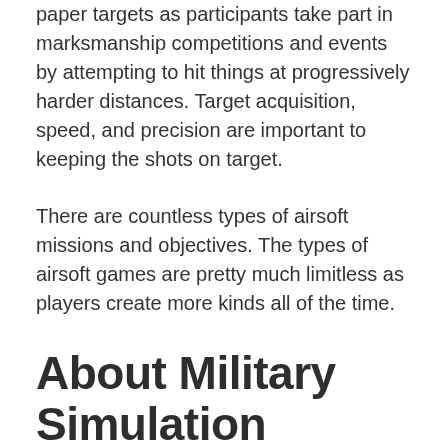paper targets as participants take part in marksmanship competitions and events by attempting to hit things at progressively harder distances. Target acquisition, speed, and precision are important to keeping the shots on target.
There are countless types of airsoft missions and objectives. The types of airsoft games are pretty much limitless as players create more kinds all of the time.
About Military Simulation
Military simulation airsoft, or milsim, is typically a big part of airsoft. Many of the airsoft